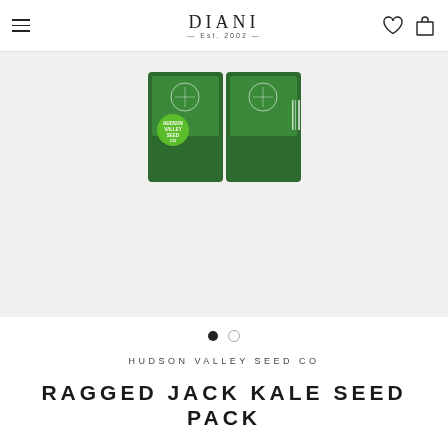DIANI — Est. 2002 —
[Figure (photo): Product photo of Hudson Valley Seed Co seed packets with green background and white decorative pattern, showing the Hudson Valley Seed Co green circular logo]
● ○
HUDSON VALLEY SEED CO
RAGGED JACK KALE SEED PACK